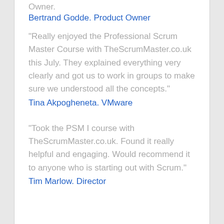Owner.
Bertrand Godde. Product Owner
“Really enjoyed the Professional Scrum Master Course with TheScrumMaster.co.uk this July. They explained everything very clearly and got us to work in groups to make sure we understood all the concepts.”
Tina Akpogheneta. VMware
“Took the PSM I course with TheScrumMaster.co.uk. Found it really helpful and engaging. Would recommend it to anyone who is starting out with Scrum.”
Tim Marlow. Director